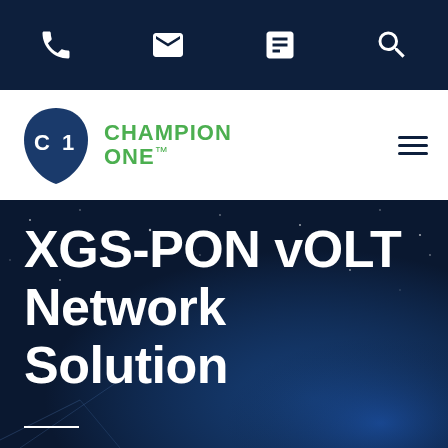[Figure (screenshot): Dark navy top navigation bar with icons: phone, envelope, document/list, magnifying glass (search)]
[Figure (logo): Champion One logo: dark navy teardrop shape with 'C1' text inside, next to green bold text reading 'CHAMPION ONE™']
XGS-PON vOLT Network Solution